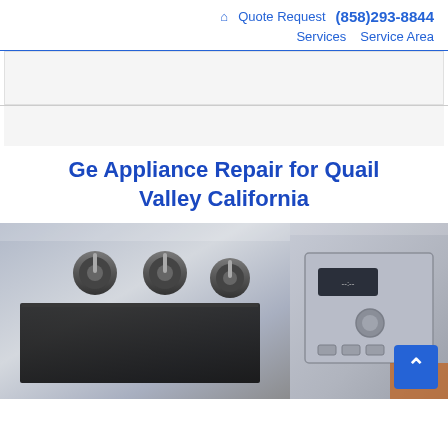🏠 Quote Request (858)293-8844 Services Service Area
[Figure (screenshot): Advertisement banner area (gray box)]
[Figure (screenshot): Advertisement banner area (gray box)]
Ge Appliance Repair for Quail Valley California
[Figure (photo): Close-up photo of stainless steel kitchen appliances including a stove with knobs and an oven/dishwasher control panel]